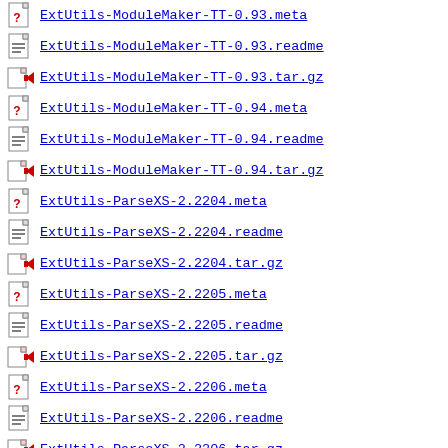ExtUtils-ModuleMaker-TT-0.93.meta
ExtUtils-ModuleMaker-TT-0.93.readme
ExtUtils-ModuleMaker-TT-0.93.tar.gz
ExtUtils-ModuleMaker-TT-0.94.meta
ExtUtils-ModuleMaker-TT-0.94.readme
ExtUtils-ModuleMaker-TT-0.94.tar.gz
ExtUtils-ParseXS-2.2204.meta
ExtUtils-ParseXS-2.2204.readme
ExtUtils-ParseXS-2.2204.tar.gz
ExtUtils-ParseXS-2.2205.meta
ExtUtils-ParseXS-2.2205.readme
ExtUtils-ParseXS-2.2205.tar.gz
ExtUtils-ParseXS-2.2206.meta
ExtUtils-ParseXS-2.2206.readme
ExtUtils-ParseXS-2.2206.tar.gz
File-Marker-0.12.meta
File-Marker-0.12.readme
File-Marker-0.12.tar.gz